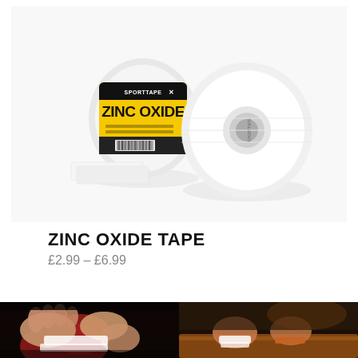[Figure (photo): Product photo of SportTape Zinc Oxide tape rolls — one roll standing upright showing yellow label with 'ZINC OXIDE' text, one roll on its side, and cut tape pieces, all white tape on white background]
ZINC OXIDE TAPE
£2.99 – £6.99
[Figure (photo): Sports tape being applied to a foot/ankle area with red background — hands applying white tape]
[Figure (photo): Feet/ankles on wooden gymnastics beam with white tape applied, warm amber lighting]